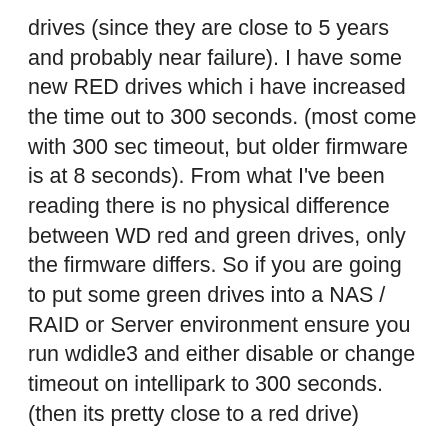drives (since they are close to 5 years and probably near failure). I have some new RED drives which i have increased the time out to 300 seconds. (most come with 300 sec timeout, but older firmware is at 8 seconds). From what I’ve been reading there is no physical difference between WD red and green drives, only the firmware differs. So if you are going to put some green drives into a NAS / RAID or Server environment ensure you run wdidle3 and either disable or change timeout on intellipark to 300 seconds. (then its pretty close to a red drive)
To check current status
wdidle3 /r
to disable intellipark
wdidle3 /d